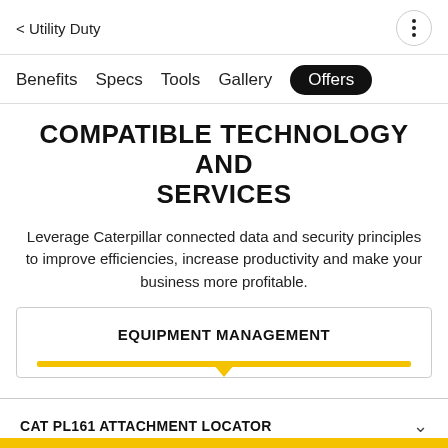< Utility Duty
Benefits  Specs  Tools  Gallery  Offers
COMPATIBLE TECHNOLOGY AND SERVICES
Leverage Caterpillar connected data and security principles to improve efficiencies, increase productivity and make your business more profitable.
EQUIPMENT MANAGEMENT
CAT PL161 ATTACHMENT LOCATOR